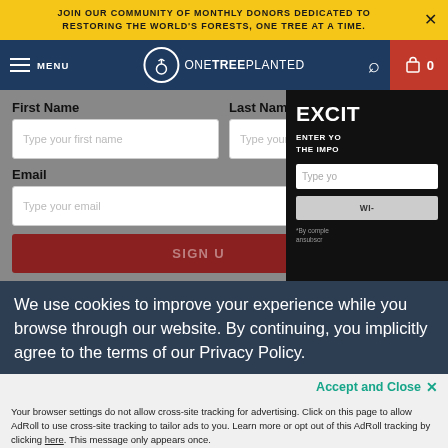JOIN OUR COMMUNITY OF MONTHLY DONORS DEDICATED TO RESTORING THE WORLD'S FORESTS, ONE TREE AT A TIME.
[Figure (screenshot): OneTreePlanted website navigation bar with hamburger menu, logo, search icon, and cart button showing 0 items]
First Name
Last Name
Type your first name
Type your last na...
Email
Type your email
SIGN U...
[Figure (screenshot): Popup overlay on right side showing EXCIT... text, ENTER YO... THE IMPO... text, and a Type yo... input field with a button below and small fine print]
We use cookies to improve your experience while you browse through our website. By continuing, you implicitly agree to the terms of our Privacy Policy.
Accept and Close ✕
Your browser settings do not allow cross-site tracking for advertising. Click on this page to allow AdRoll to use cross-site tracking to tailor ads to you. Learn more or opt out of this AdRoll tracking by clicking here. This message only appears once.